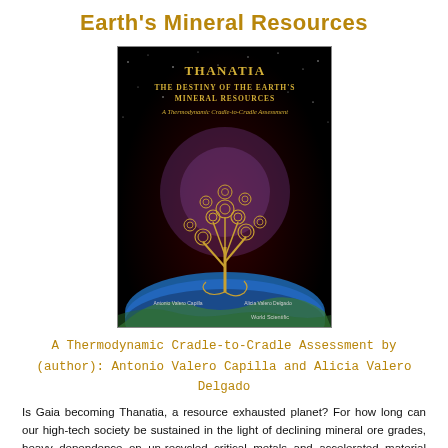Earth's Mineral Resources
[Figure (photo): Book cover of 'Thanatia: The Destiny of the Earth's Mineral Resources – A Thermodynamic Cradle-to-Cradle Assessment' by World Scientific, featuring a golden ornamental tree overlaid on a globe in space.]
A Thermodynamic Cradle-to-Cradle Assessment by (author): Antonio Valero Capilla and Alicia Valero Delgado
Is Gaia becoming Thanatia, a resource exhausted planet? For how long can our high-tech society be sustained in the light of declining mineral ore grades, heavy dependence on un-recycled critical metals and accelerated material dispersion? These are all root causes of